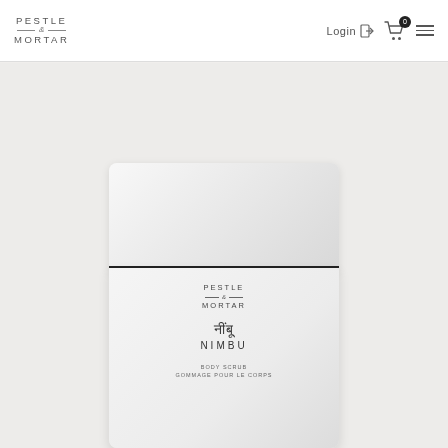[Figure (logo): Pestle & Mortar brand logo in the header, showing PESTLE / & / MORTAR in spaced uppercase letters]
Login
[Figure (illustration): White cylindrical cosmetic jar product with lid, labelled 'Pestle & Mortar', 'नींबू', 'NIMBU', 'BODY SCRUB' on grey background]